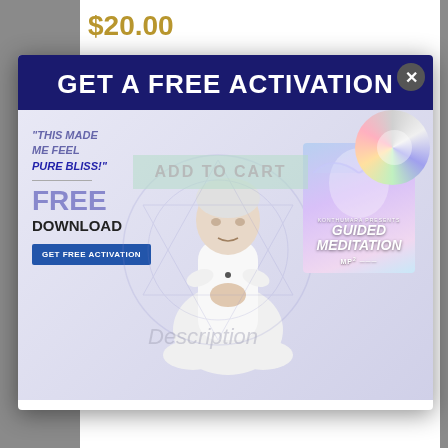$20.00
Self Help Activation
Originally Broadcasted on Wednesday, February 18, 2016 at 3pm PT/6pm ET
[Figure (screenshot): Modal popup overlay with dark blue header reading 'GET A FREE ACTIVATION', featuring a meditating elder figure in white clothing, left side quote text 'THIS MADE ME FEEL PURE BLISS!' with FREE DOWNLOAD and GET FREE ACTIVATION button, right side showing a Guided Meditation MP3 CD cover with disc, and ADD TO CART watermark text in the center.]
This self help event is for anyone desiring to find and embrace their success signature in a climate of trust and loving support. Young